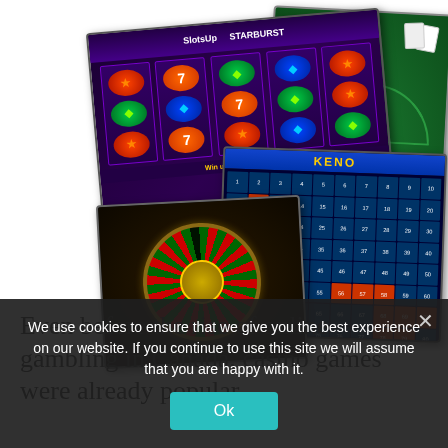[Figure (screenshot): Collage of casino game screenshots: a Starburst slot machine (top left, rotated), a blackjack table (top right, rotated), a Keno game (right, rotated), and a roulette wheel (bottom left, rotated). The images overlap each other.]
Even before the rise of online gambling in Canada, casino games were already popular
We use cookies to ensure that we give you the best experience on our website. If you continue to use this site we will assume that you are happy with it.